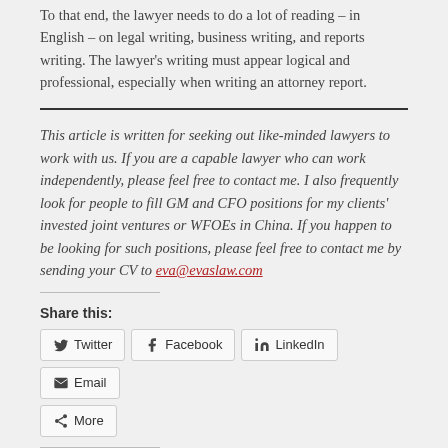To that end, the lawyer needs to do a lot of reading – in English – on legal writing, business writing, and reports writing. The lawyer's writing must appear logical and professional, especially when writing an attorney report.
This article is written for seeking out like-minded lawyers to work with us. If you are a capable lawyer who can work independently, please feel free to contact me. I also frequently look for people to fill GM and CFO positions for my clients' invested joint ventures or WFOEs in China. If you happen to be looking for such positions, please feel free to contact me by sending your CV to eva@evaslaw.com
Share this:
Twitter Facebook LinkedIn Email More
Like this: